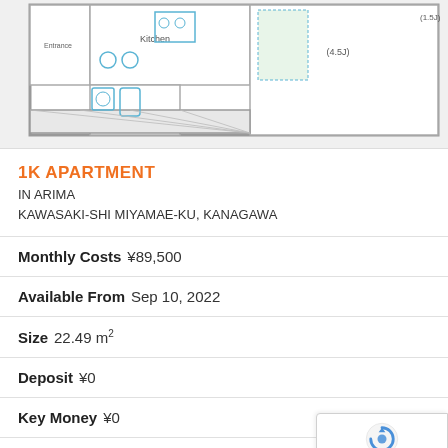[Figure (schematic): Apartment floor plan showing 1K layout with kitchen, bathroom, and main room. Rooms labeled with dimensions in tatami (4.5J visible). Blue fixtures indicate plumbing/appliances.]
1K APARTMENT
IN ARIMA
KAWASAKI-SHI MIYAMAE-KU, KANAGAWA
Monthly Costs ¥89,500
Available From Sep 10, 2022
Size 22.49 m²
Deposit ¥0
Key Money ¥0
Fl... 2/25